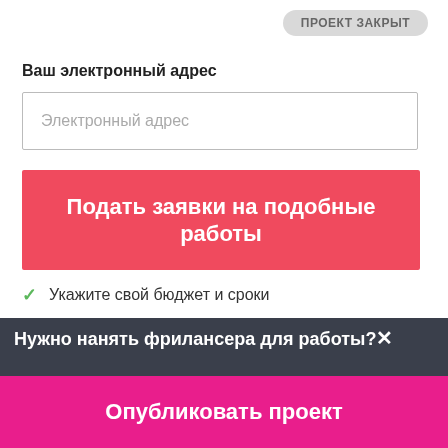ПРОЕКТ ЗАКРЫТ
Ваш электронный адрес
Электронный адрес
Подать заявки на подобные работы
Укажите свой бюджет и сроки
Опишите свое предложение
Получите оплату за свою работу
Нужно нанять фрилансера для работы?✕
Опубликовать проект